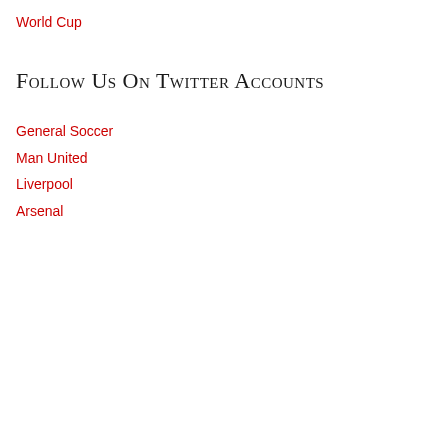World Cup
Follow Us On Twitter Accounts
General Soccer
Man United
Liverpool
Arsenal